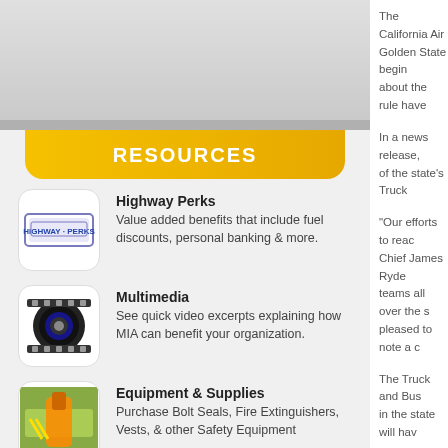RESOURCES
Highway Perks — Value added benefits that include fuel discounts, personal banking & more.
Multimedia — See quick video excerpts explaining how MIA can benefit your organization.
Equipment & Supplies — Purchase Bolt Seals, Fire Extinguishers, Vests, & other Safety Equipment
Safety IQ — Take our assessment tests to test your Safety IQ.
The California Air [resource] Golden State begin about the rule have
In a news release, of the state's Truck
“Our efforts to reac Chief James Ryde teams all over the s pleased to note a c
The Truck and Bus in the state will hav
The rule addresses replacements.
In September, CAR trucks meet the sta